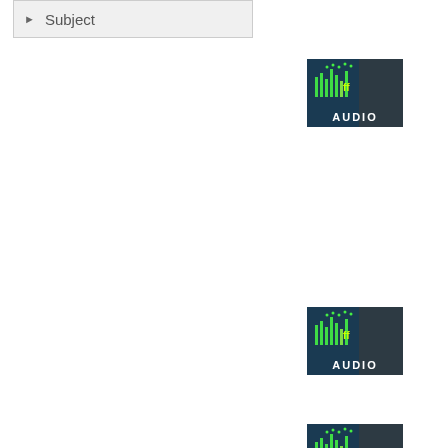Subject
[Figure (photo): Audio thumbnail image showing a person with green audio level indicators and the word AUDIO in white text]
[Figure (photo): Audio thumbnail image showing a person with green audio level indicators and the word AUDIO in white text]
[Figure (photo): Audio thumbnail image showing a person with green audio level indicators and the word AUDIO in white text (partially visible)]